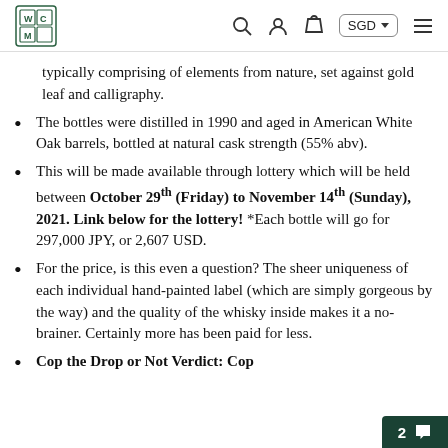WCM logo, search, account, cart, SGD selector, menu
typically comprising of elements from nature, set against gold leaf and calligraphy.
The bottles were distilled in 1990 and aged in American White Oak barrels, bottled at natural cask strength (55% abv).
This will be made available through lottery which will be held between October 29th (Friday) to November 14th (Sunday), 2021. Link below for the lottery! *Each bottle will go for 297,000 JPY, or 2,607 USD.
For the price, is this even a question? The sheer uniqueness of each individual hand-painted label (which are simply gorgeous by the way) and the quality of the whisky inside makes it a no-brainer. Certainly more has been paid for less.
Cop the Drop or Not Verdict: Cop
2